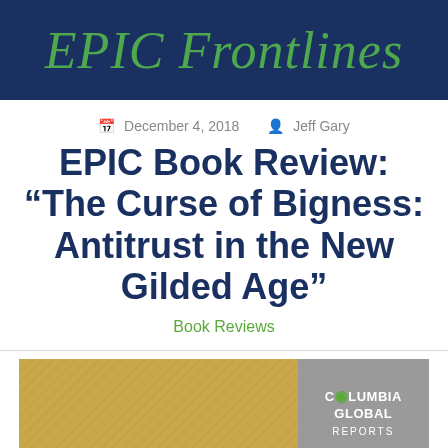EPIC Frontlines
December 4, 2018   Jeff Gary
EPIC Book Review: “The Curse of Bigness: Antitrust in the New Gilded Age”
Book Reviews
[Figure (photo): Book cover of 'The Curse of Bigness: Antitrust in the New Gilded Age' showing a gold/tan textured cover on the left and Columbia Global Reports logo on the right gray panel]